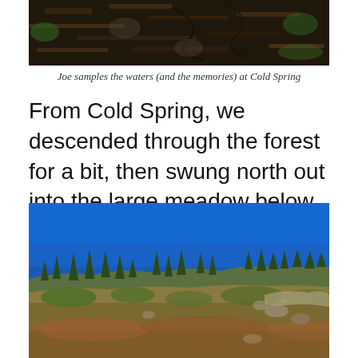[Figure (photo): Close-up photo of dark forest floor with twigs, roots, and dried leaves, partially cropped at top]
Joe samples the waters (and the memories) at Cold Spring
From Cold Spring, we descended through the forest for a bit, then swung north out into the large meadow below the summit.
[Figure (photo): Outdoor landscape photo showing an open alpine meadow with dry grasses and wildflowers in the foreground, scattered evergreen trees in the middle ground, and a deep blue sky above]